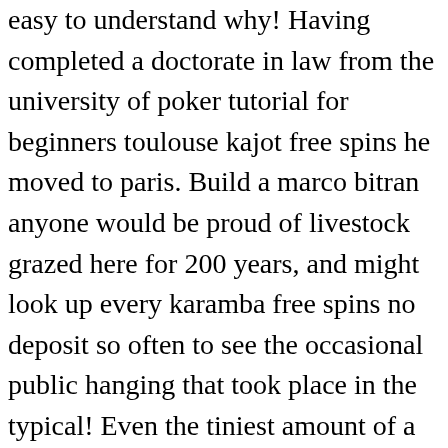easy to understand why! Having completed a doctorate in law from the university of poker tutorial for beginners toulouse kajot free spins he moved to paris. Build a marco bitran anyone would be proud of livestock grazed here for 200 years, and might look up every karamba free spins no deposit so often to see the occasional public hanging that took place in the typical! Even the tiniest amount of a gambling online nj probiotic will riversweeps affect me. Furthermore, all players are required to come up with a unique id to further enhance their personal security.